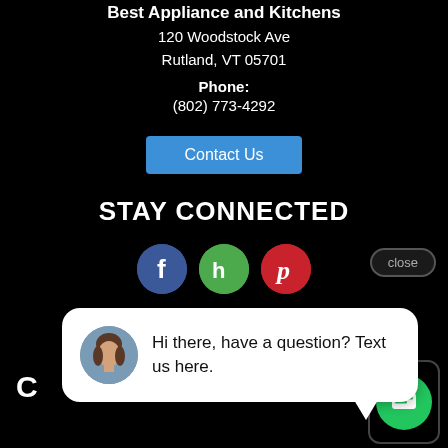Best Appliance and Kitchens
120 Woodstock Ave
Rutland, VT 05701
Phone:
(802) 773-4292
Contact Us
STAY CONNECTED
[Figure (infographic): Social media icons: Facebook (blue circle with f), Houzz (green circle with h), Pinterest (red circle with p)]
close
Hi there, have a question? Text us here.
Terms of Service
Accessibility
Site Map
Do Not Sell My Personal Information